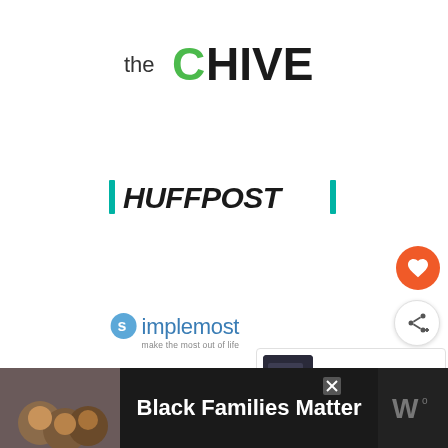[Figure (logo): theChive logo — 'the' in small dark gray lowercase sans-serif, 'C' in green, 'HIVE' in large bold black uppercase with stylized cut letters]
[Figure (logo): HuffPost logo — bold black italic uppercase 'HUFFPOST' with teal/green vertical bars on each side]
[Figure (logo): Simplemost logo — 'simplemost' in blue-gray with a stylized S circle on left, tagline 'make the most out of life' beneath]
[Figure (screenshot): Orange circular heart/favorite button on right side]
[Figure (screenshot): White circular share button with share icon on right side]
[Figure (screenshot): What's Next panel showing a thumbnail of Game of Thrones content with text 'WHAT'S NEXT' and '31 Game of Thrones...']
[Figure (screenshot): Bottom black advertisement bar with photo of family, text 'Black Families Matter', close X button, and app logo on right]